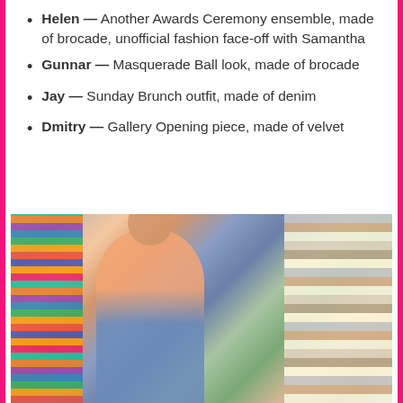Helen — Another Awards Ceremony ensemble, made of brocade, unofficial fashion face-off with Samantha
Gunnar — Masquerade Ball look, made of brocade
Jay — Sunday Brunch outfit, made of denim
Dmitry — Gallery Opening piece, made of velvet
[Figure (photo): Person standing in a fabric store or textile shop surrounded by shelves of colorful fabrics and materials on both sides]